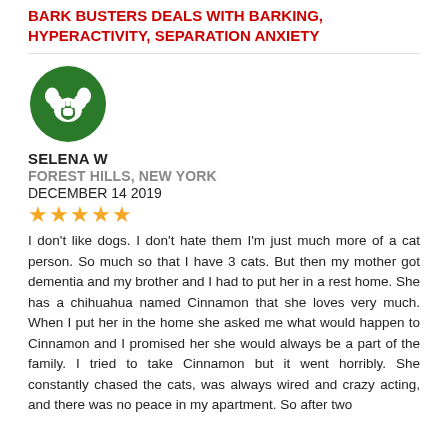BARK BUSTERS DEALS WITH BARKING, HYPERACTIVITY, SEPARATION ANXIETY
[Figure (logo): Green circle with white paw print and hand logo]
SELENA W
FOREST HILLS, NEW YORK
DECEMBER 14 2019
★★★★★
I don't like dogs. I don't hate them I'm just much more of a cat person. So much so that I have 3 cats. But then my mother got dementia and my brother and I had to put her in a rest home. She has a chihuahua named Cinnamon that she loves very much. When I put her in the home she asked me what would happen to Cinnamon and I promised her she would always be a part of the family. I tried to take Cinnamon but it went horribly. She constantly chased the cats, was always wired and crazy acting, and there was no peace in my apartment. So after two